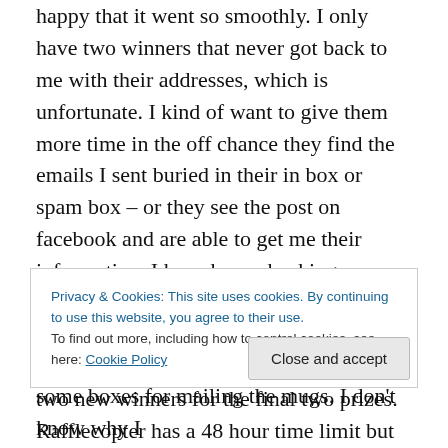happy that it went so smoothly. I only have two winners that never got back to me with their addresses, which is unfortunate. I kind of want to give them more time in the off chance they find the emails I sent buried in their in box or spam box – or they see the post on facebook and are able to get me their information. I have been checking my spam folder in case yahoo is trying to sabotage the system. 🙂 If I don't hear anything by Sunday evening I will pick two new winners for the final two prizes. Rafflecopter has a 48 hour time limit but that doesn't seem long enough – so a week it is. I already have one winner
Privacy & Cookies: This site uses cookies. By continuing to use this website, you agree to their use.
To find out more, including how to control cookies, see here: Cookie Policy
some boxes for mailing the mugs. I don't know why I